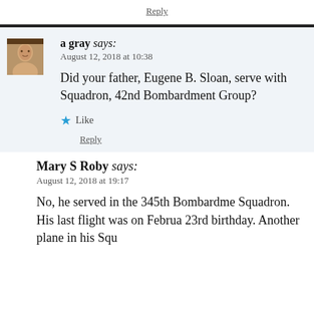Reply
a gray says:
August 12, 2018 at 10:38
Did your father, Eugene B. Sloan, serve with Squadron, 42nd Bombardment Group?
Like
Reply
Mary S Roby says:
August 12, 2018 at 19:17
No, he served in the 345th Bombardme Squadron. His last flight was on Februa 23rd birthday. Another plane in his Squ